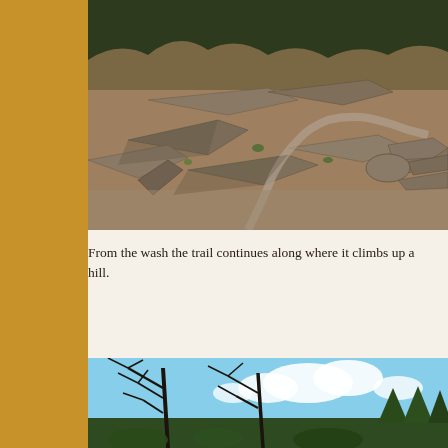[Figure (photo): Rocky desert trail with large flat stones and sparse vegetation on a hillside in bright sunlight]
From the wash the trail continues along where it climbs up a hill.
[Figure (photo): Dead twisted trees with branches silhouetted against a partly cloudy blue sky, with green pines visible in background]